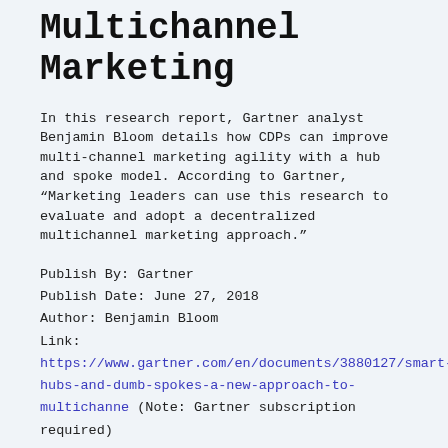Multichannel Marketing
In this research report, Gartner analyst Benjamin Bloom details how CDPs can improve multi-channel marketing agility with a hub and spoke model. According to Gartner, “Marketing leaders can use this research to evaluate and adopt a decentralized multichannel marketing approach.”
Publish By: Gartner
Publish Date: June 27, 2018
Author: Benjamin Bloom
Link:
https://www.gartner.com/en/documents/3880127/smart-hubs-and-dumb-spokes-a-new-approach-to-multichanne (Note: Gartner subscription required)